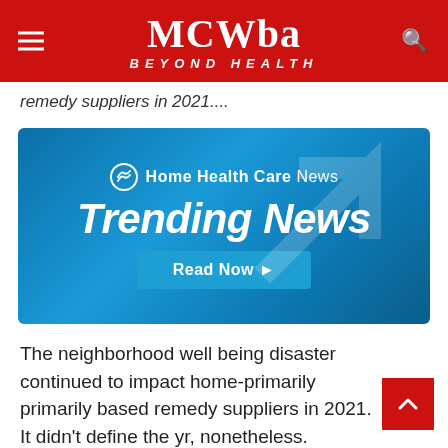MCWba BEYOND HEALTH
remedy suppliers in 2021....
[Figure (infographic): Home Health Care News 'Trending News' advertisement banner with blue gradient background and a 'Read Now' button]
The neighborhood well being disaster continued to impact home-primarily primarily based remedy suppliers in 2021. It didn't define the yr, nonetheless.